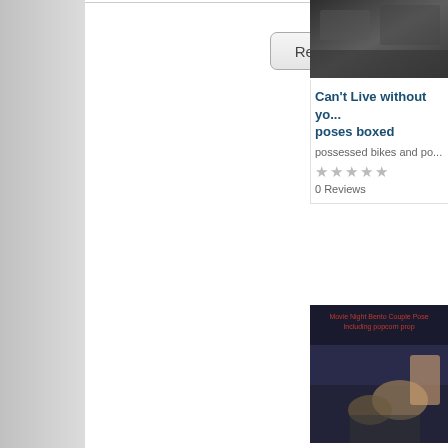Refine search
[Figure (screenshot): Dark/outdoor scene image thumbnail (top of card 1)]
Can't Live without yo... poses boxed
possessed bikes and po...
★★★★★ 0 Reviews
[Figure (screenshot): Movie night bento couple pose 3D render image with text overlay: Movie Night Bento Couple Pose Including popcorn prop]
Movie night - Posses... boxed
possessed bikes and po...
★★★★★ 0 Reviews